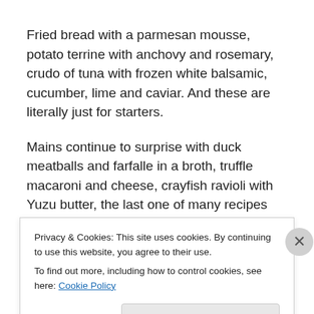Fried bread with a parmesan mousse, potato terrine with anchovy and rosemary, crudo of tuna with frozen white balsamic, cucumber, lime and caviar. And these are literally just for starters.
Mains continue to surprise with duck meatballs and farfalle in a broth, truffle macaroni and cheese, crayfish ravioli with Yuzu butter, the last one of many recipes that bring in the flavours familiar in Australia, less so in Italy. Yabby tails in saffron sauce, braised chicory and fregola seems to meld the two food cultures perfectly while there is still room for
Privacy & Cookies: This site uses cookies. By continuing to use this website, you agree to their use.
To find out more, including how to control cookies, see here: Cookie Policy
Close and accept